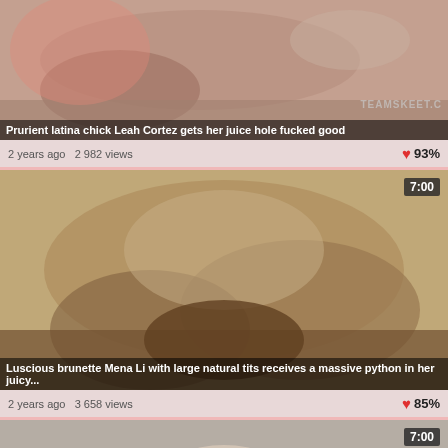[Figure (photo): Video thumbnail showing adult content - first card]
Prurient latina chick Leah Cortez gets her juice hole fucked good
2 years ago  2 982 views  ❤ 93%
[Figure (photo): Video thumbnail showing adult content - second card]
Luscious brunette Mena Li with large natural tits receives a massive python in her juicy...
2 years ago  3 658 views  ❤ 85%
[Figure (photo): Video thumbnail showing adult content - third card partial]